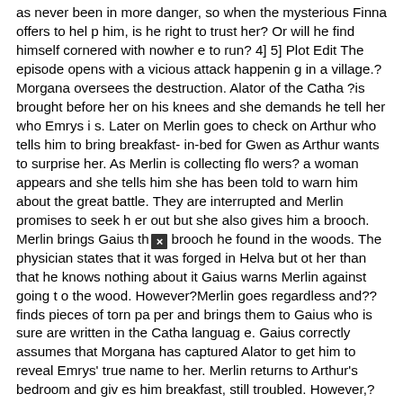as never been in more danger, so when the mysterious Finna offers to help him, is he right to trust her? Or will he find himself cornered with nowhere to run? 4] 5] Plot Edit The episode opens with a vicious attack happening in a village.? Morgana oversees the destruction. Alator of the Catha ?is brought before her on his knees and she demands he tell her who Emrys is. Later on Merlin goes to check on Arthur who tells him to bring breakfast-in-bed for Gwen as Arthur wants to surprise her. As Merlin is collecting flowers? a woman appears and she tells him she has been told to warn him about the great battle. They are interrupted and Merlin promises to seek her out but she also gives him a brooch. Merlin brings Gaius the brooch he found in the woods. The physician states that it was forged in Helva but other than that he knows nothing about it Gaius warns Merlin against going to the wood. However?Merlin goes regardless and??finds pieces of torn paper and brings them to Gaius who is sure are written in the Catha language. Gaius correctly assumes that Morgana has captured Alator to get him to reveal Emrys' true name to her. Merlin returns to Arthur's bedroom and gives him breakfast, still troubled. However,?victims of Morgana's vicious attack?flood into Camelot from one of the few places where magic is still used. Merlin confides in Gaius?and tells him Alator would never betray him and also tells him about about Finna. He goes to meet her, however Gaius suspects Finna of siding with Morgana and alerts Arthur who sends out his